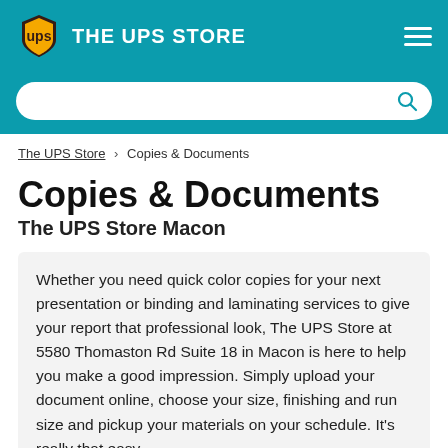THE UPS STORE
The UPS Store > Copies & Documents
Copies & Documents
The UPS Store Macon
Whether you need quick color copies for your next presentation or binding and laminating services to give your report that professional look, The UPS Store at 5580 Thomaston Rd Suite 18 in Macon is here to help you make a good impression. Simply upload your document online, choose your size, finishing and run size and pickup your materials on your schedule. It's really that easy.